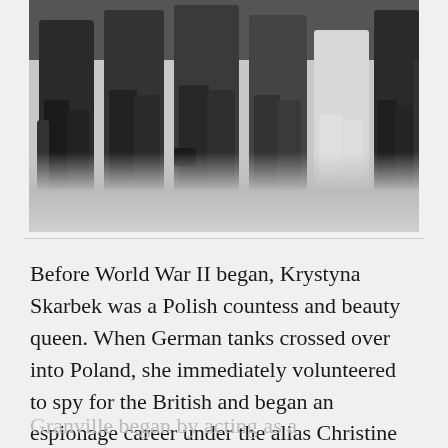[Figure (photo): Black and white historical photograph showing a group of people from the torso down, wearing mid-20th century clothing including coats and skirts, standing together in a crowd.]
Before World War II began, Krystyna Skarbek was a Polish countess and beauty queen. When German tanks crossed over into Poland, she immediately volunteered to spy for the British and began an espionage career under the alias Christine Granville.
Granville began by acting as a